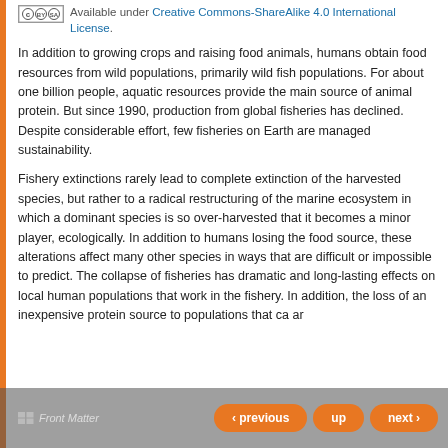[Figure (logo): Creative Commons BY-SA license badge followed by license text link]
In addition to growing crops and raising food animals, humans obtain food resources from wild populations, primarily wild fish populations. For about one billion people, aquatic resources provide the main source of animal protein. But since 1990, production from global fisheries has declined. Despite considerable effort, few fisheries on Earth are managed sustainability.
Fishery extinctions rarely lead to complete extinction of the harvested species, but rather to a radical restructuring of the marine ecosystem in which a dominant species is so over-harvested that it becomes a minor player, ecologically. In addition to humans losing the food source, these alterations affect many other species in ways that are difficult or impossible to predict. The collapse of fisheries has dramatic and long-lasting effects on local human populations that work in the fishery. In addition, the loss of an inexpensive protein source to populations that ca... an...
Front Matter